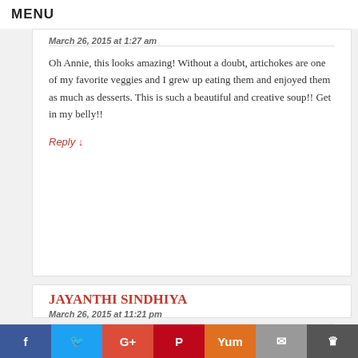MENU
March 26, 2015 at 1:27 am
Oh Annie, this looks amazing! Without a doubt, artichokes are one of my favorite veggies and I grew up eating them and enjoyed them as much as desserts. This is such a beautiful and creative soup!! Get in my belly!!
Reply ↓
JAYANTHI SINDHIYA
March 26, 2015 at 11:21 pm
It looks really great.nice combo of ingredients
Reply ↓